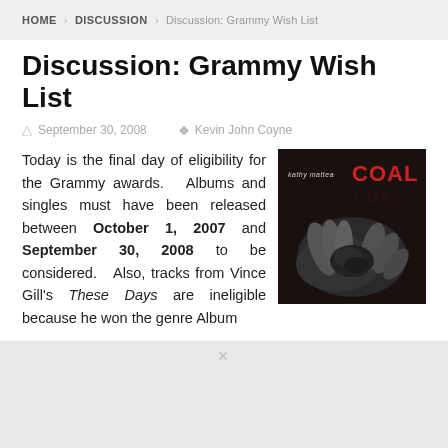HOME > DISCUSSION > Discussion: Grammy Wish List
Discussion: Grammy Wish List
September 30, 2008   Kevin John Coyne
Today is the final day of eligibility for the Grammy awards.  Albums and singles must have been released between October 1, 2007 and September 30, 2008 to be considered.   Also, tracks from Vince Gill's These Days are ineligible because he won the genre Album
[Figure (photo): Album cover for 'Coal' by Kathy Mattea — dark background with hands holding coal, title in red letters]